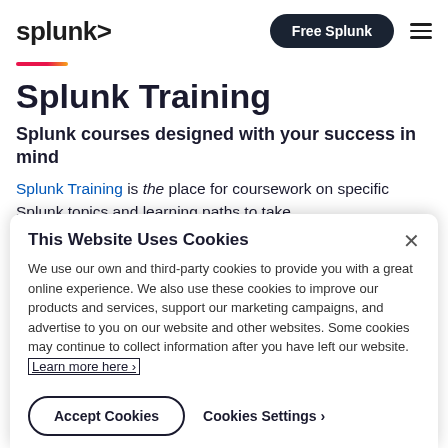splunk> | Free Splunk | ≡
Splunk Training
Splunk courses designed with your success in mind
Splunk Training is the place for coursework on specific Splunk topics and learning paths to take
This Website Uses Cookies
We use our own and third-party cookies to provide you with a great online experience. We also use these cookies to improve our products and services, support our marketing campaigns, and advertise to you on our website and other websites. Some cookies may continue to collect information after you have left our website. Learn more here ›
Accept Cookies | Cookies Settings ›